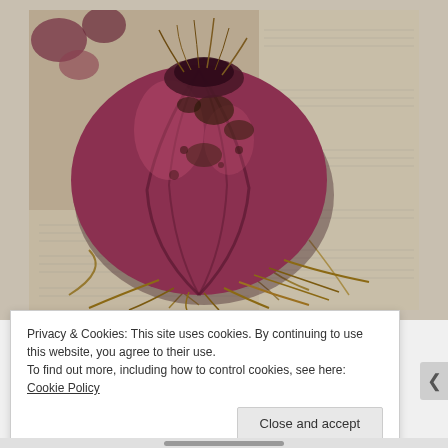[Figure (photo): Close-up photograph of a large red/purple onion bulb with dried roots and soil, resting on newspaper pages. Additional onion bulbs visible in the upper left background.]
Privacy & Cookies: This site uses cookies. By continuing to use this website, you agree to their use.
To find out more, including how to control cookies, see here: Cookie Policy